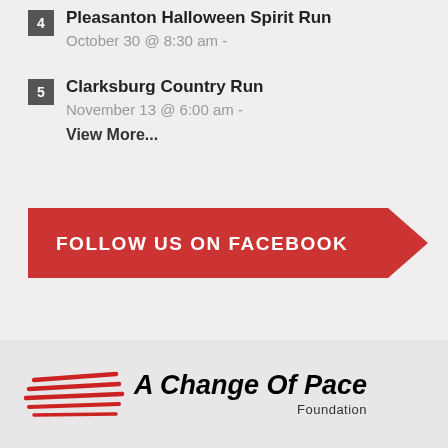4 Pleasanton Halloween Spirit Run
October 30 @ 8:30 am -
5 Clarksburg Country Run
November 13 @ 6:00 am -
View More...
[Figure (other): Red banner button with text FOLLOW US ON FACEBOOK with a chevron/arrow shape on the right side]
[Figure (logo): A Change Of Pace Foundation logo with red speed lines on the left and bold italic text]